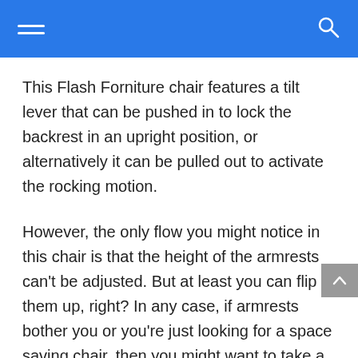This Flash Forniture chair features a tilt lever that can be pushed in to lock the backrest in an upright position, or alternatively it can be pulled out to activate the rocking motion.
However, the only flow you might notice in this chair is that the height of the armrests can't be adjusted. But at least you can flip them up, right? In any case, if armrests bother you or you're just looking for a space saving chair, then you might want to take a look at the armless office chairs we've reviewed.